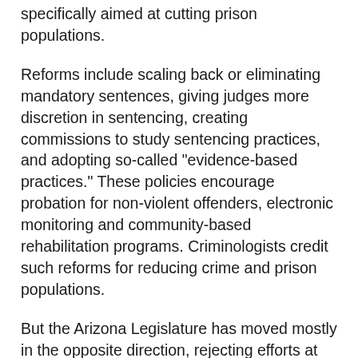specifically aimed at cutting prison populations.
Reforms include scaling back or eliminating mandatory sentences, giving judges more discretion in sentencing, creating commissions to study sentencing practices, and adopting so-called "evidence-based practices." These policies encourage probation for non-violent offenders, electronic monitoring and community-based rehabilitation programs. Criminologists credit such reforms for reducing crime and prison populations.
But the Arizona Legislature has moved mostly in the opposite direction, rejecting efforts at sentencing reform. Last session, after being lobbied by Maricopa County Attorney Bill Montgomery and other prosecutors, leaders buried bills by Ash and another member of their own Republican majority who proposed reforms - creating a sentencing commission, expanding rehabilitation practices - similar to those adopted in Texas, Michigan, Kansas and New York. They also rejected a bill for a study of sentencing reforms. Arizona prosecutors and most Republican lawmakers insist that tough sentencing laws are essential to fighting crime by ensuring violent criminals get long